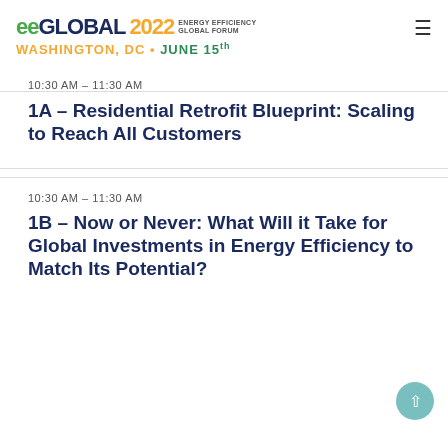eeGLOBAL 2022 ENERGY EFFICIENCY GLOBAL FORUM WASHINGTON, DC • JUNE 15th
10:30 AM – 11:30 AM
1A – Residential Retrofit Blueprint: Scaling to Reach All Customers
10:30 AM – 11:30 AM
1B – Now or Never: What Will it Take for Global Investments in Energy Efficiency to Match Its Potential?